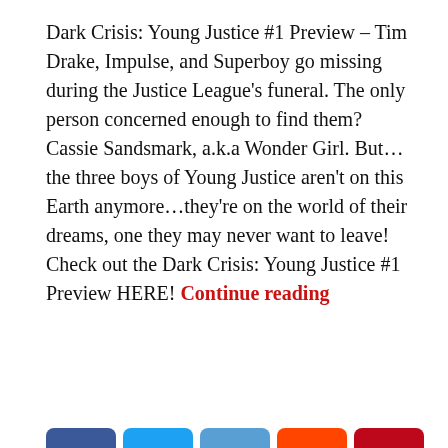Dark Crisis: Young Justice #1 Preview – Tim Drake, Impulse, and Superboy go missing during the Justice League's funeral. The only person concerned enough to find them? Cassie Sandsmark, a.k.a Wonder Girl. But... the three boys of Young Justice aren't on this Earth anymore...they're on the world of their dreams, one they may never want to leave! Check out the Dark Crisis: Young Justice #1 Preview HERE! Continue reading
[Figure (infographic): Social sharing buttons row: Facebook, Twitter, Email, Reddit, Pinterest, LinkedIn, Tumblr, WordPress, Blogger, Link, Flipboard, More]
DISPATCHDCU / LEAVE A COMMENT
[Figure (photo): Dark moody photograph showing a face with dark hair against dark background]